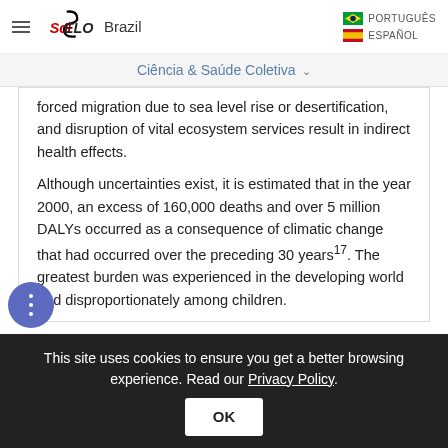SciELO Brazil — Ciência & Saúde Coletiva
forced migration due to sea level rise or desertification, and disruption of vital ecosystem services result in indirect health effects.
Although uncertainties exist, it is estimated that in the year 2000, an excess of 160,000 deaths and over 5 million DALYs occurred as a consequence of climatic change that had occurred over the preceding 30 years¹⁷. The greatest burden was experienced in the developing world and disproportionately among children.
This site uses cookies to ensure you get a better browsing experience. Read our Privacy Policy.